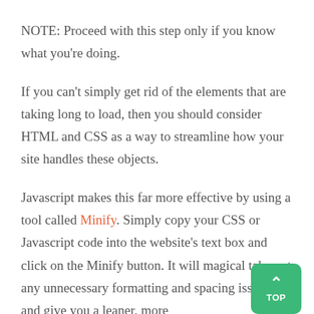NOTE: Proceed with this step only if you know what you're doing.

If you can't simply get rid of the elements that are taking long to load, then you should consider HTML and CSS as a way to streamline how your site handles these objects.

Javascript makes this far more effective by using a tool called Minify. Simply copy your CSS or Javascript code into the website's text box and click on the Minify button. It will magical take out any unnecessary formatting and spacing issues, and give you a leaner, more